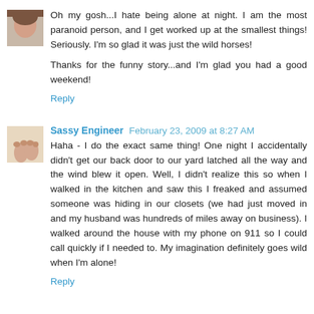Oh my gosh...I hate being alone at night. I am the most paranoid person, and I get worked up at the smallest things! Seriously. I'm so glad it was just the wild horses!

Thanks for the funny story...and I'm glad you had a good weekend!
Reply
Sassy Engineer  February 23, 2009 at 8:27 AM
Haha - I do the exact same thing! One night I accidentally didn't get our back door to our yard latched all the way and the wind blew it open. Well, I didn't realize this so when I walked in the kitchen and saw this I freaked and assumed someone was hiding in our closets (we had just moved in and my husband was hundreds of miles away on business). I walked around the house with my phone on 911 so I could call quickly if I needed to. My imagination definitely goes wild when I'm alone!
Reply